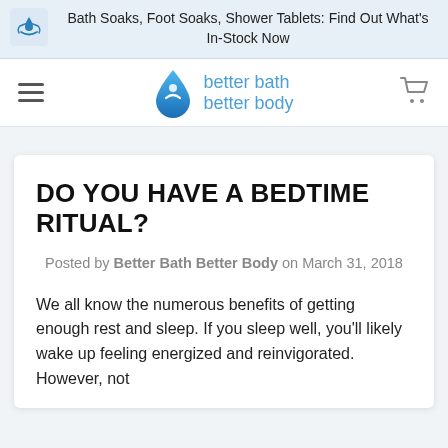Bath Soaks, Foot Soaks, Shower Tablets: Find Out What's In-Stock Now
[Figure (logo): Better Bath Better Body logo with blue water drop icon and blue text]
DO YOU HAVE A BEDTIME RITUAL?
Posted by Better Bath Better Body on March 31, 2018
We all know the numerous benefits of getting enough rest and sleep. If you sleep well, you'll likely wake up feeling energized and reinvigorated. However, not